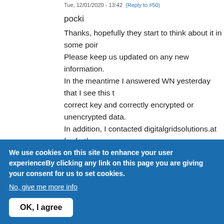Tue, 12/01/2020 - 13:42  (Reply to #50)
pocki
Thanks, hopefully they start to think about it in some poi... Please keep us updated on any new information. In the meantime I answered WN yesterday that I see this t... correct key and correctly encrypted or unencrypted data. In addition, I contacted digitalgridsolutions.at for further s... message description and contact persons at WN.
Top
We use cookies on this site to enhance your user experienceBy clicking any link on this page you are giving your consent for us to set cookies.
No, give me more info
OK, I agree